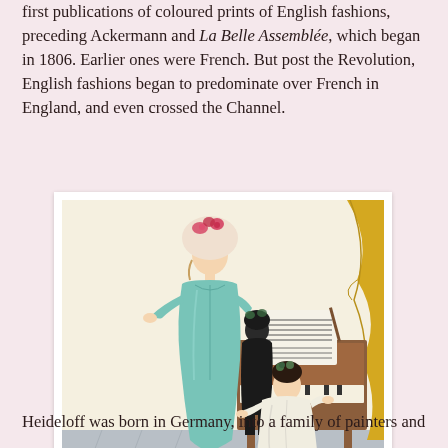first publications of coloured prints of English fashions, preceding Ackermann and La Belle Assemblée, which began in 1806. Earlier ones were French. But post the Revolution, English fashions began to predominate over French in England, and even crossed the Channel.
[Figure (illustration): A coloured print showing two women in late 18th-century English fashion. One woman stands wearing a light blue/teal dress and a large floral bonnet, with her arm around a seated woman who wears a white dress and has dark curly hair adorned with flowers. The seated woman plays a square piano/harpsichord with sheet music on it. A yellow curtain is visible in the background.]
Heideloff was born in Germany, into a family of painters and